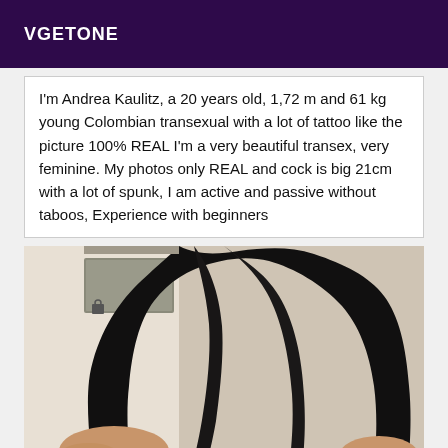VGETONE
I'm Andrea Kaulitz, a 20 years old, 1,72 m and 61 kg young Colombian transexual with a lot of tattoo like the picture 100% REAL I'm a very beautiful transex, very feminine. My photos only REAL and cock is big 21cm with a lot of spunk, I am active and passive without taboos, Experience with beginners
[Figure (photo): Photo of a person with long straight black hair viewed from behind, showing bare skin and dark-painted fingernails.]